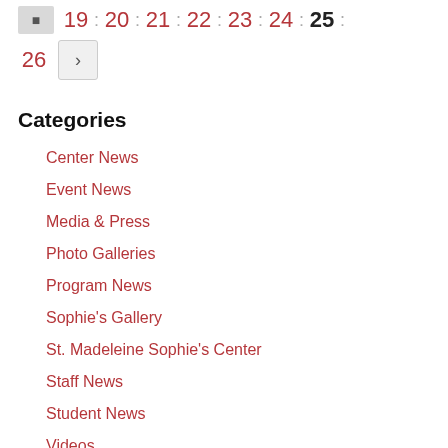[Figure (other): Pagination navigation with page numbers 19 through 26 and a next button. Current page is 25.]
Categories
Center News
Event News
Media & Press
Photo Galleries
Program News
Sophie's Gallery
St. Madeleine Sophie's Center
Staff News
Student News
Videos